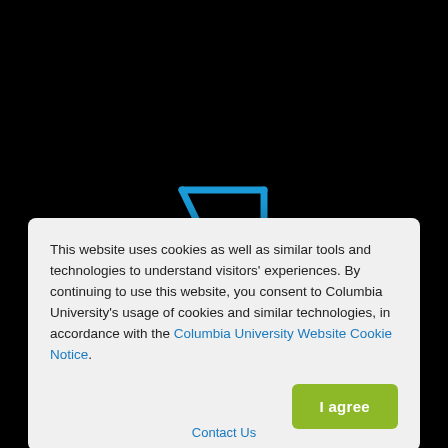[Figure (logo): Columbia Business School logo — blue stylized '4' with double horizontal lines, followed by 'Columbia Business School' text in white on black background]
This website uses cookies as well as similar tools and technologies to understand visitors' experiences. By continuing to use this website, you consent to Columbia University's usage of cookies and similar technologies, in accordance with the Columbia University Website Cookie Notice.